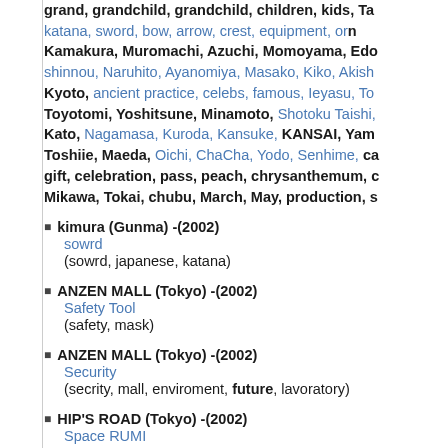grand, grandchild, grandchild, children, kids, Ta katana, sword, bow, arrow, crest, equipment, or Kamakura, Muromachi, Azuchi, Momoyama, Edo shinnou, Naruhito, Ayanomiya, Masako, Kiko, Akish Kyoto, ancient practice, celebs, famous, Ieyasu, To Toyotomi, Yoshitsune, Minamoto, Shotoku Taishi, Kato, Nagamasa, Kuroda, Kansuke, KANSAI, Yam Toshiie, Maeda, Oichi, ChaCha, Yodo, Senhime, ca gift, celebration, pass, peach, chrysanthemum, c Mikawa, Tokai, chubu, March, May, production, s
kimura (Gunma) -(2002)
sowrd
(sowrd, japanese, katana)
ANZEN MALL (Tokyo) -(2002)
Safety Tool
(safety, mask)
ANZEN MALL (Tokyo) -(2002)
Security
(secrity, mall, enviroment, future, lavoratory)
HIP'S ROAD (Tokyo) -(2002)
Space RUMI
taitoru (Saitama) -(2002)
ikuo'S HomePage
(3DCG)
KATCHU (Aichi) -(2002)